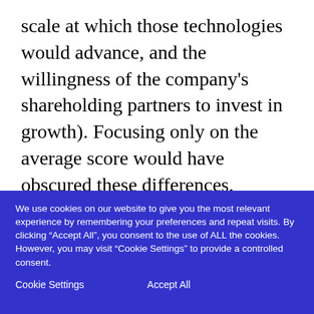scale at which those technologies would advance, and the willingness of the company's shareholding partners to invest in growth). Focusing only on the average score would have obscured these differences, leading those at both extremes feeling disconnected from the apparent
We use cookies on our website to give you the most relevant experience by remembering your preferences and repeat visits. By clicking “Accept All”, you consent to the use of ALL the cookies. However, you may visit “Cookie Settings” to provide a controlled consent.
Cookie Settings    Accept All